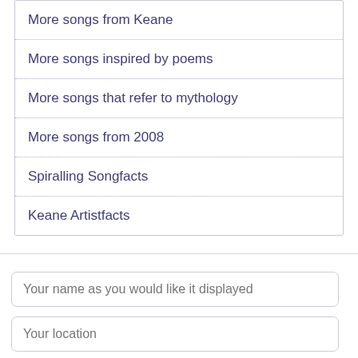More songs from Keane
More songs inspired by poems
More songs that refer to mythology
More songs from 2008
Spiralling Songfacts
Keane Artistfacts
Your name as you would like it displayed
Your location
Your Comment